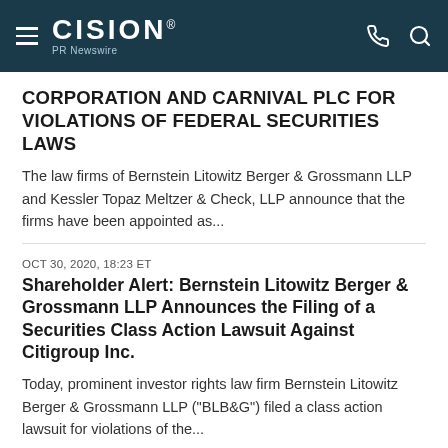CISION PR Newswire
CORPORATION AND CARNIVAL PLC FOR VIOLATIONS OF FEDERAL SECURITIES LAWS
The law firms of Bernstein Litowitz Berger & Grossmann LLP and Kessler Topaz Meltzer & Check, LLP announce that the firms have been appointed as...
OCT 30, 2020, 18:23 ET
Shareholder Alert: Bernstein Litowitz Berger & Grossmann LLP Announces the Filing of a Securities Class Action Lawsuit Against Citigroup Inc.
Today, prominent investor rights law firm Bernstein Litowitz Berger & Grossmann LLP ("BLB&G") filed a class action lawsuit for violations of the...